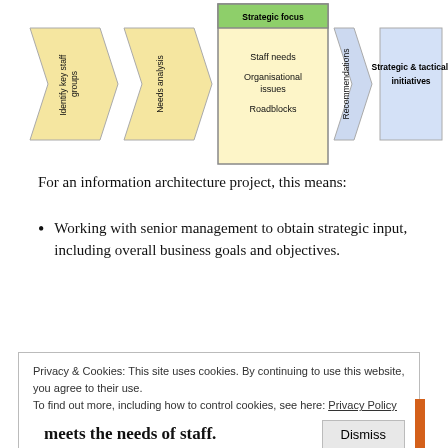[Figure (flowchart): A process flowchart showing: 'Identify key staff groups' arrow -> 'Needs analysis' arrow -> box containing 'Strategic focus' (green header) + 'Staff needs', 'Organisational issues', 'Roadblocks' -> 'Recommendations' arrow -> 'Strategic & tactical initiatives' box. Yellow arrow shapes for first steps, blue arrow and box for last steps.]
For an information architecture project, this means:
Working with senior management to obtain strategic input, including overall business goals and objectives.
Privacy & Cookies: This site uses cookies. By continuing to use this website, you agree to their use.
To find out more, including how to control cookies, see here: Privacy Policy
meets the needs of staff.